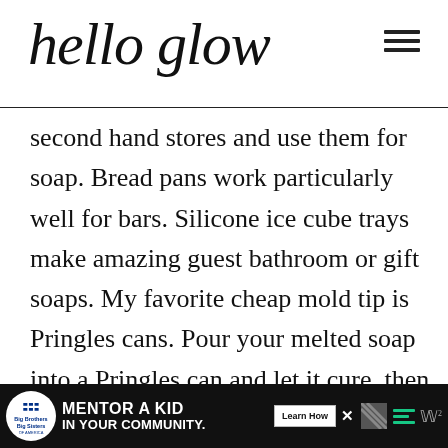hello glow
second hand stores and use them for soap. Bread pans work particularly well for bars. Silicone ice cube trays make amazing guest bathroom or gift soaps. My favorite cheap mold tip is Pringles cans. Pour your melted soap into a Pringles can and let it cure, then you cut the bottom of of the can and simply slide the tube of soap out and slice
[Figure (infographic): Advertisement banner: Big Brothers Big Sisters logo, text 'MENTOR A KID IN YOUR COMMUNITY.', Learn How button, close button, decorative stripes and icons]